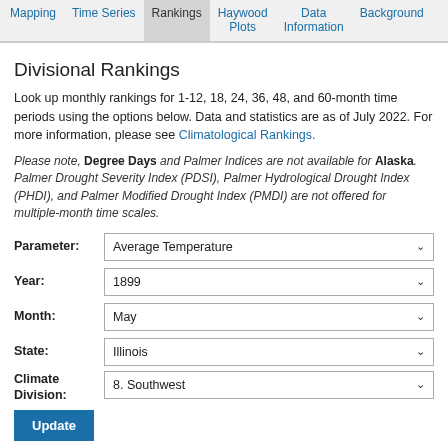Mapping | Time Series | Rankings | Haywood Plots | Data Information | Background
Divisional Rankings
Look up monthly rankings for 1-12, 18, 24, 36, 48, and 60-month time periods using the options below. Data and statistics are as of July 2022. For more information, please see Climatological Rankings.
Please note, Degree Days and Palmer Indices are not available for Alaska. Palmer Drought Severity Index (PDSI), Palmer Hydrological Drought Index (PHDI), and Palmer Modified Drought Index (PMDI) are not offered for multiple-month time scales.
Parameter: Average Temperature
Year: 1899
Month: May
State: Illinois
Climate Division: 8. Southwest
Update